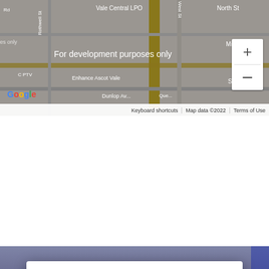[Figure (screenshot): Google Maps screenshot showing Ascot Vale area with streets (Vale Central LPO, North St, Middle St, South St, Rothwell St, West St, Dunlop Ave, Queen St) overlaid with 'For development purposes only' watermark. Zoom controls (+/-) visible on right. Google logo at bottom left. Map data ©2022 attribution bar at bottom.]
[Figure (screenshot): Google Street View screenshot showing a road in 3D perspective with 'purposes only' watermark and a Google Maps error dialog overlay. Dialog reads: Google / This page can't load Google Maps correctly. / Do you own this website? / OK button. Zoom controls (+/-) visible in dark style on right.]